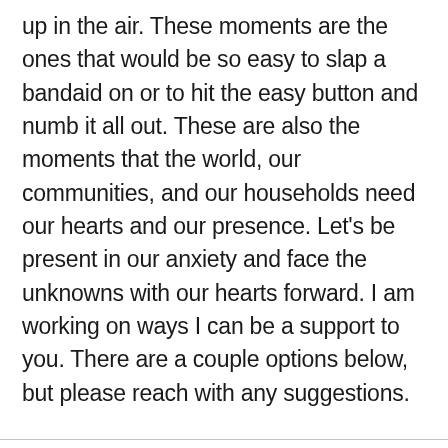up in the air. These moments are the ones that would be so easy to slap a bandaid on or to hit the easy button and numb it all out. These are also the moments that the world, our communities, and our households need our hearts and our presence. Let’s be present in our anxiety and face the unknowns with our hearts forward. I am working on ways I can be a support to you. There are a couple options below, but please reach with any suggestions.